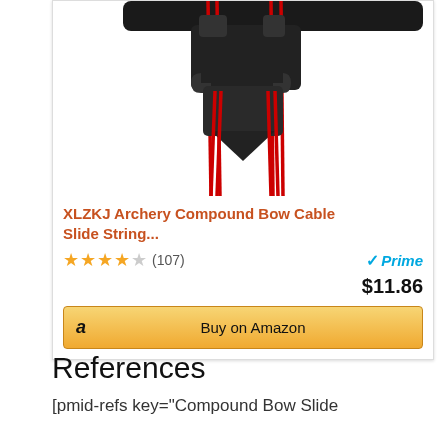[Figure (photo): Product photo of XLZKJ Archery Compound Bow Cable Slide String Stop - shows a black metal cable slide/guide mounted on a bow rail with red bowstrings visible]
XLZKJ Archery Compound Bow Cable Slide String...
★★★★☆ (107)
Prime
$11.86
Buy on Amazon
References
[pmid-refs key="Compound Bow Slide